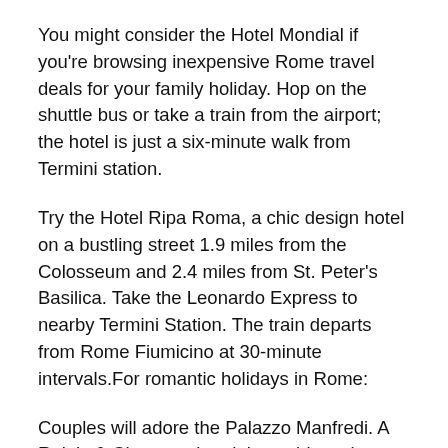You might consider the Hotel Mondial if you're browsing inexpensive Rome travel deals for your family holiday. Hop on the shuttle bus or take a train from the airport; the hotel is just a six-minute walk from Termini station.
Try the Hotel Ripa Roma, a chic design hotel on a bustling street 1.9 miles from the Colosseum and 2.4 miles from St. Peter's Basilica. Take the Leonardo Express to nearby Termini Station. The train departs from Rome Fiumicino at 30-minute intervals.For romantic holidays in Rome:
Couples will adore the Palazzo Manfredi. A Relais & Chateaux hotel, it combines the opulence of a 17th century Italian Villa with chic, modern rooms and outstanding service. Take the complimentary shuttle from Rome International Airport.
Villa Clementina is perfect for couples who want Rome